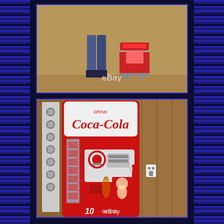[Figure (photo): Top photo showing two small figurines or objects on a tan/brown surface with eBay watermark text at bottom]
[Figure (photo): Bottom photo showing a vintage Coca-Cola red and white vending machine with 'DRINK Coca-Cola' logo, '10 cents' text, and 'Ice Cold' label, in a garage/warehouse setting with wood paneling background. eBay watermark at bottom.]